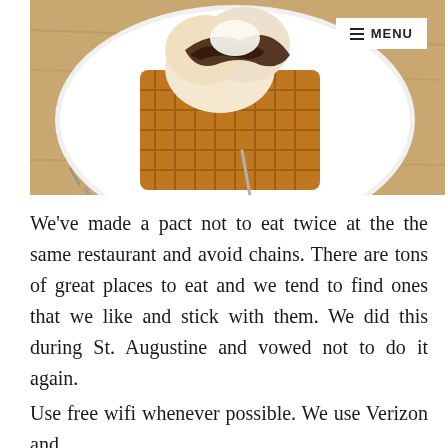[Figure (photo): A close-up photograph of a waffle dessert topped with ice cream and chocolate sauce on a white plate, with a fork and knife on the plate, set on a wooden table. A white menu button is visible in the top-right corner.]
We've made a pact not to eat twice at the the same restaurant and avoid chains. There are tons of great places to eat and we tend to find ones that we like and stick with them. We did this during St. Augustine and vowed not to do it again.
Use free wifi whenever possible. We use Verizon and